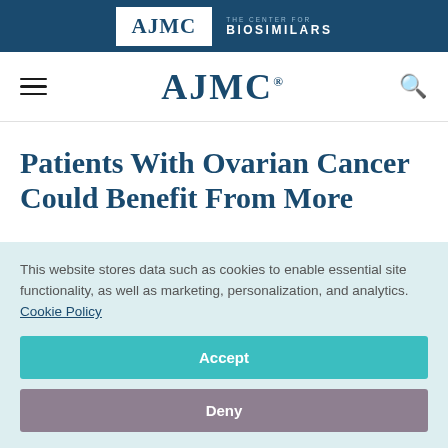AJMC | THE CENTER FOR BIOSIMILARS
AJMC
Patients With Ovarian Cancer Could Benefit From More
This website stores data such as cookies to enable essential site functionality, as well as marketing, personalization, and analytics. Cookie Policy
Accept
Deny